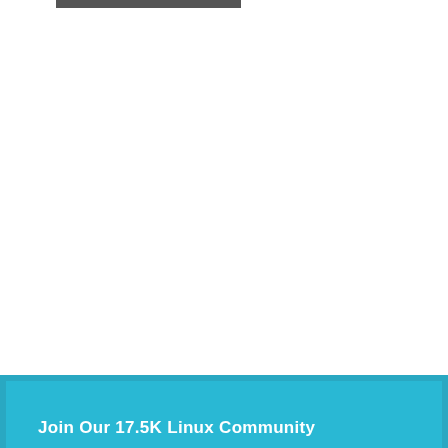Join Our 17.5K Linux Community